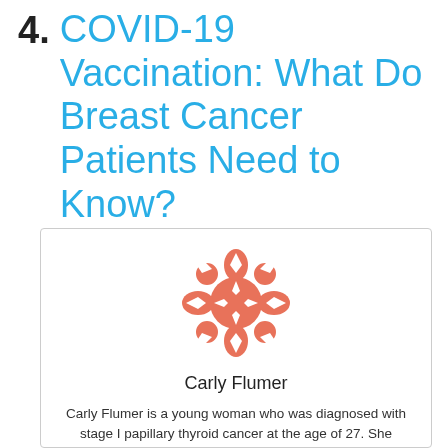4. COVID-19 Vaccination: What Do Breast Cancer Patients Need to Know?
[Figure (illustration): Decorative orange snowflake/rosette avatar logo for Carly Flumer]
Carly Flumer
Carly Flumer is a young woman who was diagnosed with stage I papillary thyroid cancer at the age of 27. She recently received her Master's degree from